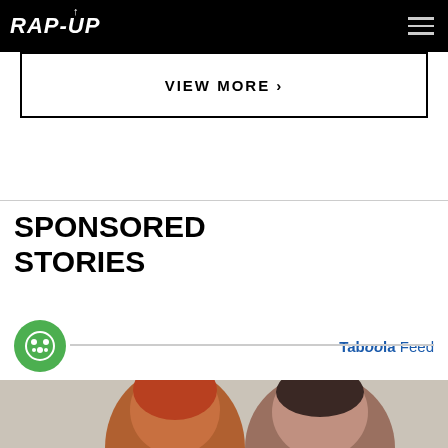RAP-UP
VIEW MORE >
SPONSORED STORIES
Taboola Feed
[Figure (photo): Two women facing away from each other, one with red hair and one with dark hair pulled back, photographed from behind in a neutral setting]